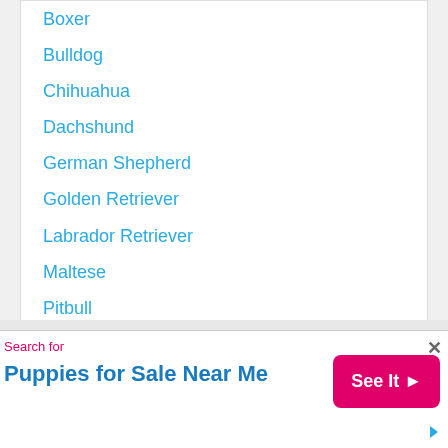Boxer
Bulldog
Chihuahua
Dachshund
German Shepherd
Golden Retriever
Labrador Retriever
Maltese
Pitbull
Pomeranian
Poodle
Pug
Rottweiler
Shih Tzu
Yorkie
Search for
Puppies for Sale Near Me
See It >